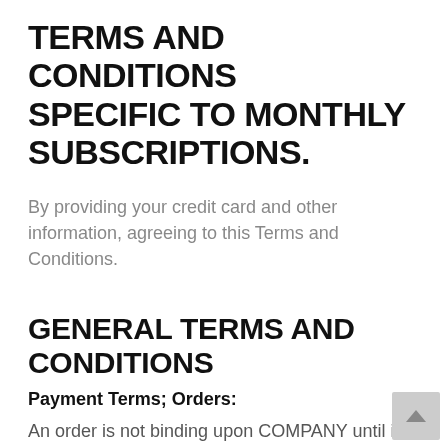TERMS AND CONDITIONS SPECIFIC TO MONTHLY SUBSCRIPTIONS.
By providing your credit card and other information, agreeing to this Terms and Conditions.
GENERAL TERMS AND CONDITIONS
Payment Terms; Orders:
An order is not binding upon COMPANY until it is accepted. COMPANY may, in its...